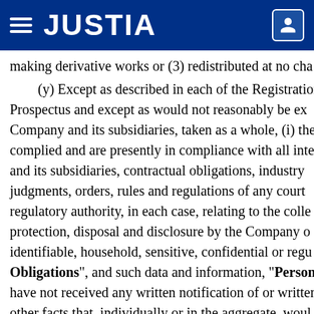JUSTIA
making derivative works or (3) redistributed at no cha
(y) Except as described in each of the Registration Prospectus and except as would not reasonably be ex Company and its subsidiaries, taken as a whole, (i) the complied and are presently in compliance with all inte and its subsidiaries, contractual obligations, industry judgments, orders, rules and regulations of any court regulatory authority, in each case, relating to the colle protection, disposal and disclosure by the Company o identifiable, household, sensitive, confidential or regu "Obligations", and such data and information, "Person have not received any written notification of or written other facts that, individually or in the aggregate, woul Data Security Obligation by the Company or any of its proceeding by or before any court or governmental a Company's knowledge, threatened alleging non-comp